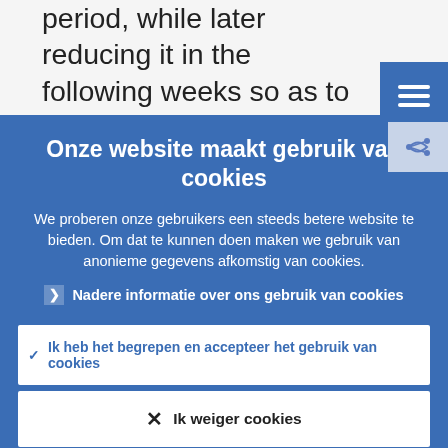period, while later reducing it in the following weeks so as to keep the average supply of liquidity unchanged.
Onze website maakt gebruik van cookies
We proberen onze gebruikers een steeds betere website te bieden. Om dat te kunnen doen maken we gebruik van anonieme gegevens afkomstig van cookies.
▶ Nadere informatie over ons gebruik van cookies
✓ Ik heb het begrepen en accepteer het gebruik van cookies
✕ Ik weiger cookies